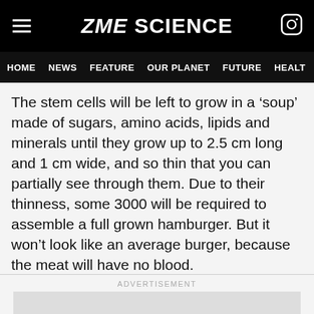ZME SCIENCE
HOME NEWS FEATURE OUR PLANET FUTURE HEALT
The stem cells will be left to grow in a ‘soup’ made of sugars, amino acids, lipids and minerals until they grow up to 2.5 cm long and 1 cm wide, and so thin that you can partially see through them. Due to their thinness, some 3000 will be required to assemble a full grown hamburger. But it won’t look like an average burger, because the meat will have no blood.
ADVERTISEMENT